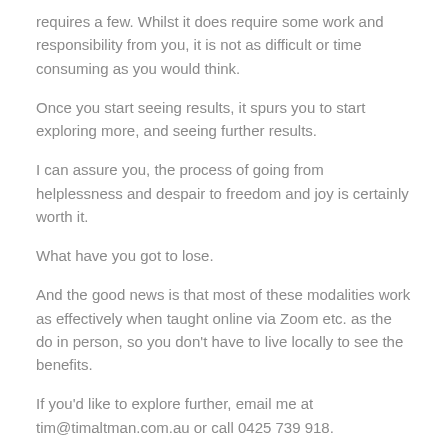requires a few. Whilst it does require some work and responsibility from you, it is not as difficult or time consuming as you would think.
Once you start seeing results, it spurs you to start exploring more, and seeing further results.
I can assure you, the process of going from helplessness and despair to freedom and joy is certainly worth it.
What have you got to lose.
And the good news is that most of these modalities work as effectively when taught online via Zoom etc. as the do in person, so you don't have to live locally to see the benefits.
If you'd like to explore further, email me at tim@timaltman.com.au or call 0425 739 918.